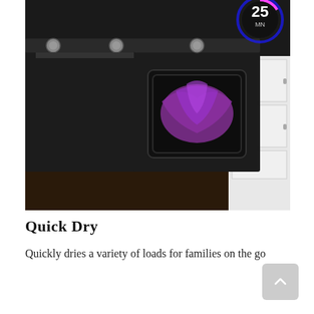[Figure (photo): A black washer and dryer set in a laundry room. The dryer has a glass door showing purple fabric inside. A timer display in the top right corner shows '25 MIN' with a colorful circular indicator.]
Quick Dry
Quickly dries a variety of loads for families on the go